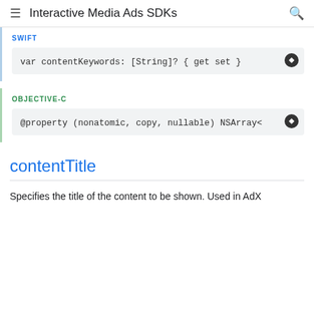Interactive Media Ads SDKs
SWIFT
var contentKeywords: [String]? { get set }
OBJECTIVE-C
@property (nonatomic, copy, nullable) NSArray<
contentTitle
Specifies the title of the content to be shown. Used in AdX